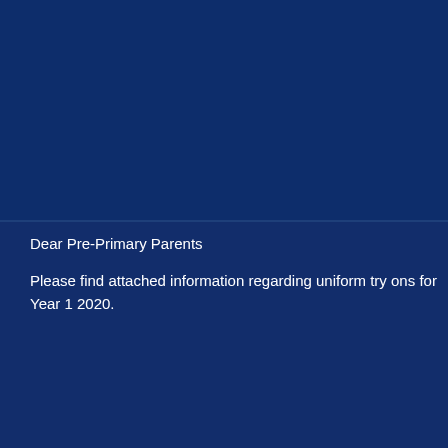Dear Pre-Primary Parents
Please find attached information regarding uniform try ons for Year 1 2020.